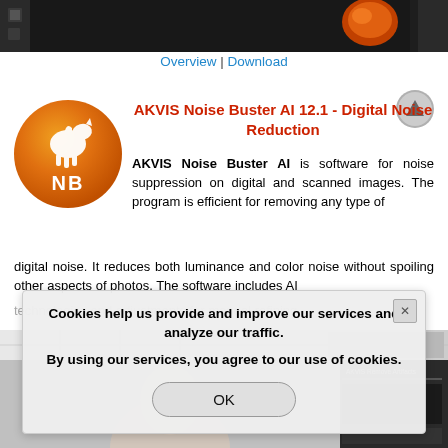[Figure (screenshot): Dark software interface screenshot showing image editing with a woman and orange fruit visible]
Overview | Download
[Figure (logo): AKVIS Noise Buster AI logo - orange circle with white horse silhouette and NB letters]
AKVIS Noise Buster AI 12.1 - Digital Noise Reduction
AKVIS Noise Buster AI is software for noise suppression on digital and scanned images. The program is efficient for removing any type of digital noise. It reduces both luminance and color noise without spoiling other aspects of photos. The software includes AI technologies and adjustments for manual refining.
[Figure (screenshot): Blurred/partially visible software screenshot in background behind cookie notice]
Cookies help us provide and improve our services and analyze our traffic. By using our services, you agree to our use of cookies.
OK